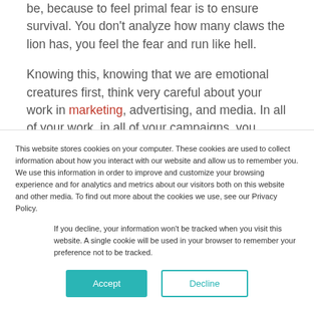be, because to feel primal fear is to ensure survival. You don't analyze how many claws the lion has, you feel the fear and run like hell.
Knowing this, knowing that we are emotional creatures first, think very careful about your work in marketing, advertising, and media. In all of your work, in all of your campaigns, you
This website stores cookies on your computer. These cookies are used to collect information about how you interact with our website and allow us to remember you. We use this information in order to improve and customize your browsing experience and for analytics and metrics about our visitors both on this website and other media. To find out more about the cookies we use, see our Privacy Policy.
If you decline, your information won't be tracked when you visit this website. A single cookie will be used in your browser to remember your preference not to be tracked.